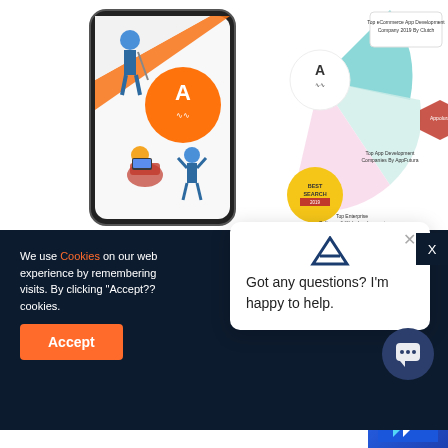[Figure (illustration): Partial screenshot of a website showing an app company illustration with a phone, human figures, and award badges including 'Top eCommerce App Development Company 2019 By Clutch', 'Top App Development Companies By AppFutura', and 'Top Enterprise Software & Web development' on a pie/wheel graphic with orange, teal, and pink segments.]
We use Cookies on our web... experience by remembering... visits. By clicking "Accept??... cookies.
Got any questions? I'm happy to help.
Accept
to Migrate Flutter App to Web